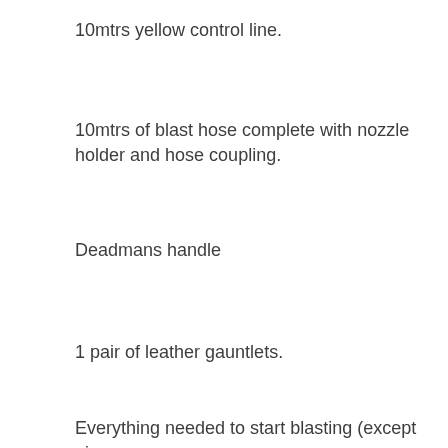10mtrs yellow control line.
10mtrs of blast hose complete with nozzle holder and hose coupling.
Deadmans handle
1 pair of leather gauntlets.
Everything needed to start blasting (except air